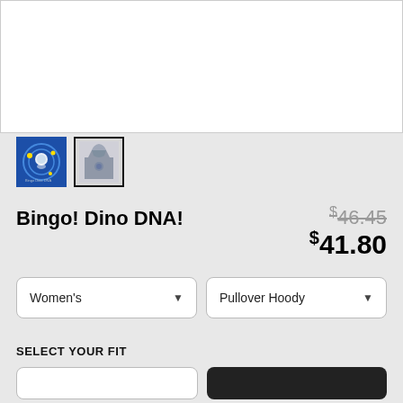[Figure (photo): Main product image area - white background, cropped hoodie image]
[Figure (photo): Thumbnail 1: blue circular logo with cartoon character and stars (Bingo Dino DNA design)]
[Figure (photo): Thumbnail 2: gray pullover hoody product image, selected (black border)]
Bingo! Dino DNA!
$46.45 (original price, strikethrough)
$41.80 (sale price)
Women's (dropdown)
Pullover Hoody (dropdown)
SELECT YOUR FIT